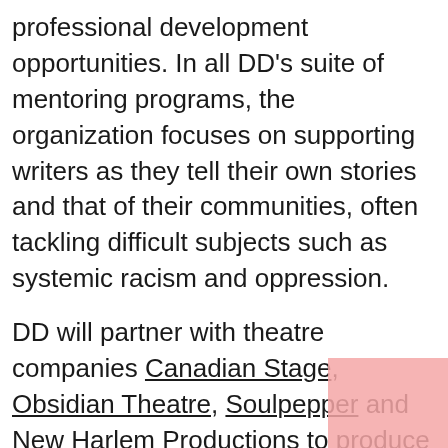professional development opportunities. In all DD's suite of mentoring programs, the organization focuses on supporting writers as they tell their own stories and that of their communities, often tackling difficult subjects such as systemic racism and oppression.
DD will partner with theatre companies Canadian Stage, Obsidian Theatre, Soulpepper and New Harlem Productions to produce this program. Each theatre partner has nominated an emerging playwright to take part, as well as identified the appropriate dramaturge for the work.